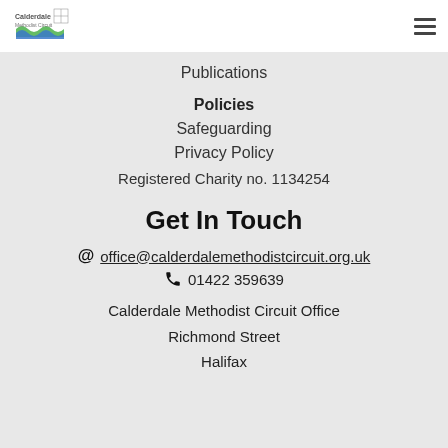Calderdale Methodist Circuit — navigation header
Publications
Policies
Safeguarding
Privacy Policy
Registered Charity no. 1134254
Get In Touch
@ office@calderdalemethodistcircuit.org.uk
01422 359639
Calderdale Methodist Circuit Office
Richmond Street
Halifax